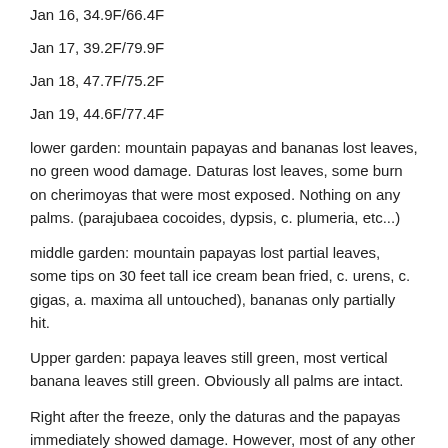Jan 16, 34.9F/66.4F
Jan 17, 39.2F/79.9F
Jan 18, 47.7F/75.2F
Jan 19, 44.6F/77.4F
lower garden: mountain papayas and bananas lost leaves, no green wood damage. Daturas lost leaves, some burn on cherimoyas that were most exposed. Nothing on any palms. (parajubaea cocoides, dypsis, c. plumeria, etc...)
middle garden: mountain papayas lost partial leaves, some tips on 30 feet tall ice cream bean fried, c. urens, c. gigas, a. maxima all untouched), bananas only partially hit.
Upper garden: papaya leaves still green, most vertical banana leaves still green. Obviously all palms are intact.
Right after the freeze, only the daturas and the papayas immediately showed damage. However, most of any other damage, for example ice cream bean didn't really show up until it got into the 80's: